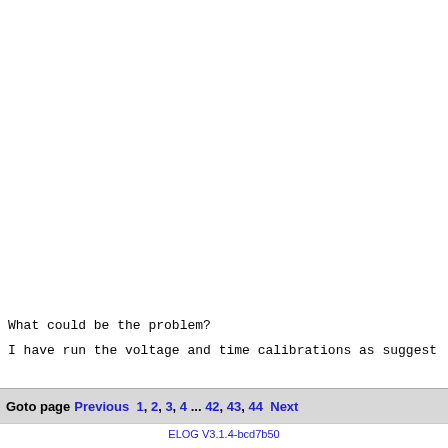What could be the problem?
I have run the voltage and time calibrations as suggest
Goto page Previous 1, 2, 3, 4 ... 42, 43, 44 Next
ELOG V3.1.4-bcd7b50